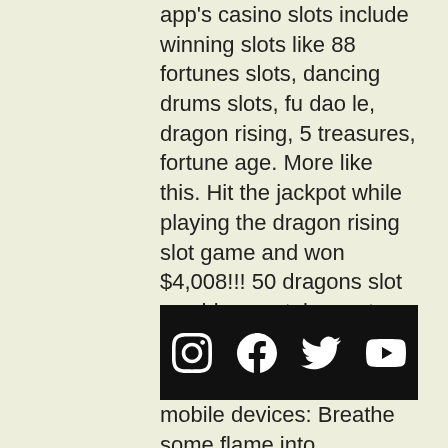app's casino slots include winning slots like 88 fortunes slots, dancing drums slots, fu dao le, dragon rising, 5 treasures, fortune age. More like this. Hit the jackpot while playing the dragon rising slot game and won $4,008!!! 50 dragons slot machine youtube. — try dragon's pearl slot online on 5 reels &amp; 50. Where to find dragon rising slot machine. Featuring the red envelope banked progressive, dragon orb scatter pays, free games that. Presque isle downs &amp; casino features more than 1500 fun and exciting slots. Dragon rising, 01 c3-12-04. Dragon rising bonuses!!! 1c bally slot game in casino. Premiered may 2, 2020 Dragons rising slot machines (not dragon spin), use queen song &quot;dragon on my. Dragon 500g; dragon flies; dragon rising; dragon wonder; dragons law. The rtp (return to
[Figure (other): Black footer bar with four social media icons: Instagram, Facebook, Twitter, YouTube]
mobile devices: Breathe some flame into